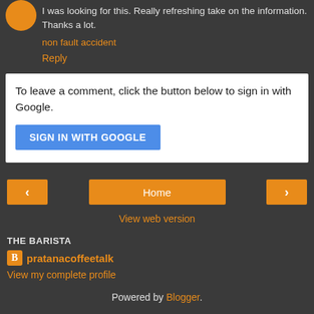I was looking for this. Really refreshing take on the information. Thanks a lot.
non fault accident
Reply
To leave a comment, click the button below to sign in with Google.
SIGN IN WITH GOOGLE
Home
View web version
THE BARISTA
pratanacoffeetalk
View my complete profile
Powered by Blogger.